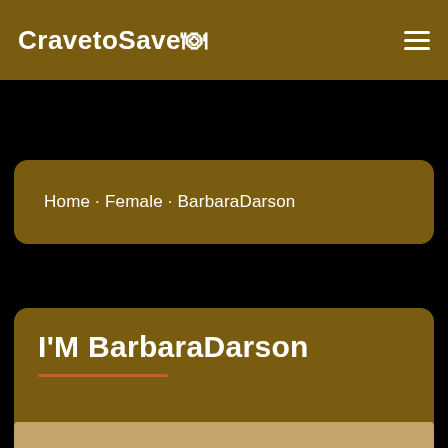CravetoSave🍽
Home · Female · BarbaraDarson
I'M BarbaraDarson
[Figure (photo): Partial photo of a person visible at the bottom of the page]